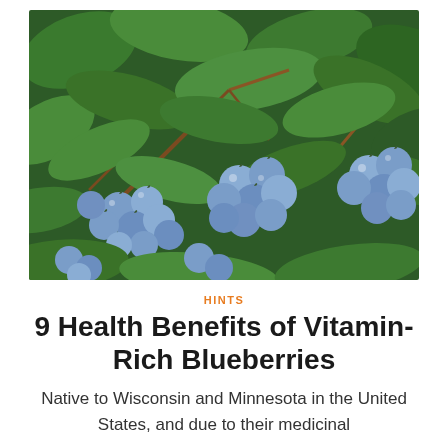[Figure (photo): Close-up photograph of blueberries growing on a bush with green leaves, showing clusters of ripe blue-purple berries]
HINTS
9 Health Benefits of Vitamin-Rich Blueberries
Native to Wisconsin and Minnesota in the United States, and due to their medicinal